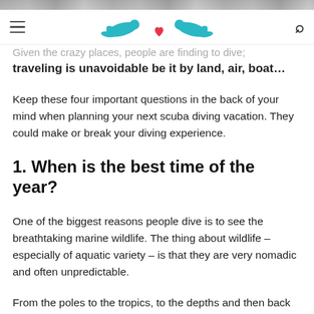[Dive Buddies logo and navigation bar with hamburger menu and search icon]
Given the crazy places, people are finding to dive; traveling is unavoidable be it by land, air, boat…
Keep these four important questions in the back of your mind when planning your next scuba diving vacation. They could make or break your diving experience.
1. When is the best time of the year?
One of the biggest reasons people dive is to see the breathtaking marine wildlife. The thing about wildlife – especially of aquatic variety – is that they are very nomadic and often unpredictable.
From the poles to the tropics, to the depths and then back into the shallows… Scientists have studied aquatic